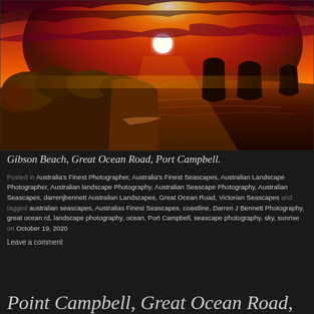[Figure (photo): Dramatic sunset over Gibson Beach, Great Ocean Road, Port Campbell. Orange and red sky with sun low on the horizon, rocky sea stacks in the ocean, coastal cliffs and scrubby vegetation in the foreground.]
Gibson Beach, Great Ocean Road, Port Campbell.
Posted in Australia's Finest Photographer, Australia's Finest Seascapes, Australian Landscape Photographer, Australian landscape Photography, Australian Seascape Photography, Australian Seascapes, darrenjbennett Australian Landscapes, Great Ocean Road, Victorian Seascapes and tagged australian seascapes, Australias Finest Seascapes, coastline, Darren J Bennett Photography, great ocean rd, landscape photography, ocean, Port Campbell, seascape photography, sky, sunrise on October 19, 2020
Leave a comment
Point Campbell, Great Ocean Road,